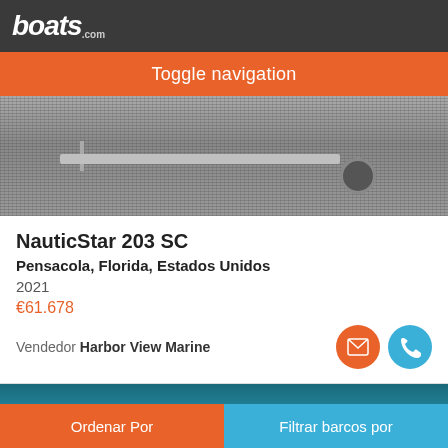boats.com
Toggle navigation
[Figure (photo): Black and white photo of a boat trailer on gravel, viewed from below/behind showing trailer frame and wheel]
NauticStar 203 SC
Pensacola, Florida, Estados Unidos
2021
€61.678
Vendedor Harbor View Marine
[Figure (photo): Partial photo of a white boat on teal/blue water]
Ordenar Por
Filtrar barcos por